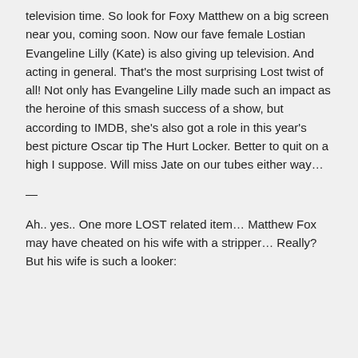television time. So look for Foxy Matthew on a big screen near you, coming soon. Now our fave female Lostian Evangeline Lilly (Kate) is also giving up television. And acting in general. That's the most surprising Lost twist of all! Not only has Evangeline Lilly made such an impact as the heroine of this smash success of a show, but according to IMDB, she's also got a role in this year's best picture Oscar tip The Hurt Locker. Better to quit on a high I suppose. Will miss Jate on our tubes either way…
—
Ah.. yes.. One more LOST related item… Matthew Fox may have cheated on his wife with a stripper… Really? But his wife is such a looker: